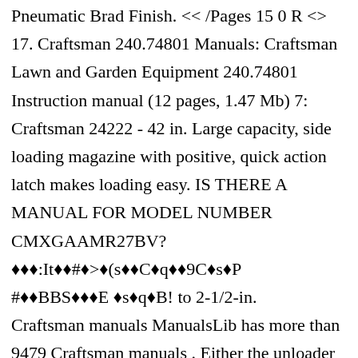Pneumatic Brad Finish. << /Pages 15 0 R <> 17. Craftsman 240.74801 Manuals: Craftsman Lawn and Garden Equipment 240.74801 Instruction manual (12 pages, 1.47 Mb) 7: Craftsman 24222 - 42 in. Large capacity, side loading magazine with positive, quick action latch makes loading easy. IS THERE A MANUAL FOR MODEL NUMBER CMXGAAMR27BV? ❖❖❖:It❖❖#❖>❖(s❖❖C❖q❖❖9C❖s❖P#❖❖BBS❖❖❖E ❖s❖q❖B! to 2-1/2-in. Craftsman manuals ManualsLib has more than 9479 Craftsman manuals . Either the unloader